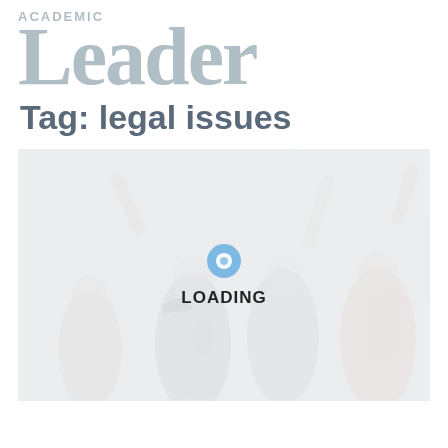ACADEMIC Leader
Tag: legal issues
[Figure (photo): Faded/loading photo of people with raised hands and a megaphone, with a loading spinner and 'LOADING' text overlay]